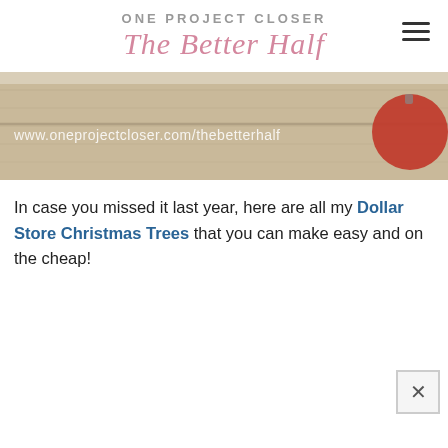ONE PROJECT CLOSER The Better Half
[Figure (photo): A decorative photo strip showing a wooden surface with a Christmas ornament (red ball) and the URL www.oneprojectcloser.com/thebetterhalf overlaid in white text.]
In case you missed it last year, here are all my Dollar Store Christmas Trees that you can make easy and on the cheap!